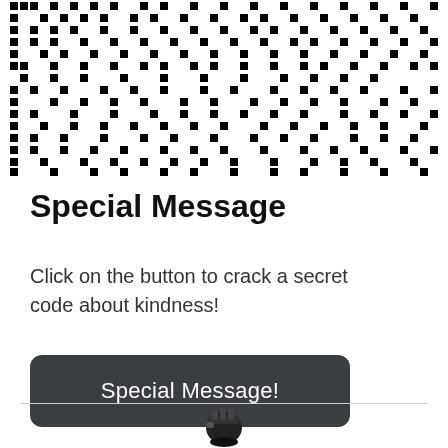[Figure (other): QR code image, partially cropped at top, black and white dot matrix pattern]
Special Message
Click on the button to crack a secret code about kindness!
[Figure (other): Dark rounded rectangle button labeled 'Special Message!']
[Figure (illustration): Small black and white illustration of a fist or hand at the bottom of the page below a divider line]